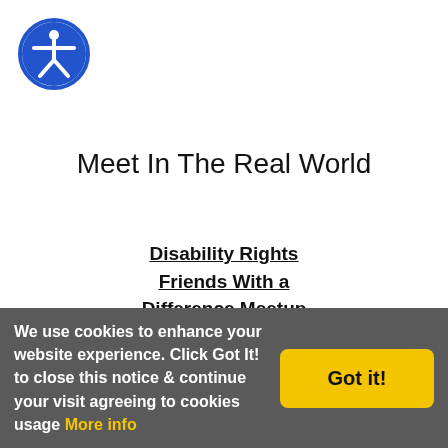[Figure (logo): Accessibility icon: blue circle with white stick figure person, arms outstretched]
Meet In The Real World
Disability Rights Friends With a Difference Meetup Caregiver Meetup
Home | Account | Search
We use cookies to enhance your website experience. Click Got It! to close this notice & continue your visit agreeing to cookies usage More info